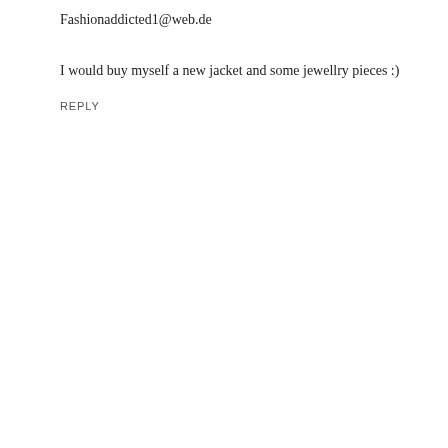Fashionaddicted1@web.de
I would buy myself a new jacket and some jewellry pieces :)
REPLY